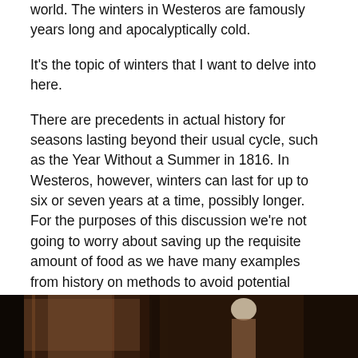world. The winters in Westeros are famously years long and apocalyptically cold.
It's the topic of winters that I want to delve into here.
There are precedents in actual history for seasons lasting beyond their usual cycle, such as the Year Without a Summer in 1816. In Westeros, however, winters can last for up to six or seven years at a time, possibly longer. For the purposes of this discussion we're not going to worry about saving up the requisite amount of food as we have many examples from history on methods to avoid potential famine over long periods of time. The main thing we are going to look at (as the title suggests) is the question of firewood.
[Figure (photo): Dark photograph of a room interior with a person visible, dark brown/amber tones]